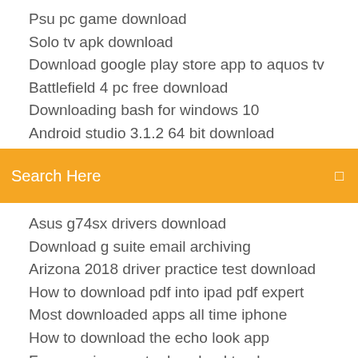Psu pc game download
Solo tv apk download
Download google play store app to aquos tv
Battlefield 4 pc free download
Downloading bash for windows 10
Android studio 3.1.2 64 bit download
[Figure (screenshot): Orange search bar with text 'Search Here' and a small icon on the right]
Asus g74sx drivers download
Download g suite email archiving
Arizona 2018 driver practice test download
How to download pdf into ipad pdf expert
Most downloaded apps all time iphone
How to download the echo look app
Free music apps to download to phone
The art of speed reading people. pdf download
Howto download strm file
How to download mods from nexus mods ps4